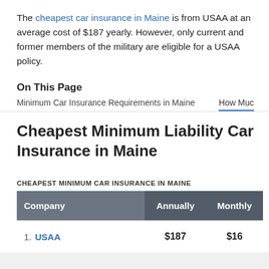The cheapest car insurance in Maine is from USAA at an average cost of $187 yearly. However, only current and former members of the military are eligible for a USAA policy.
On This Page
Minimum Car Insurance Requirements in Maine    How Muc
Cheapest Minimum Liability Car Insurance in Maine
CHEAPEST MINIMUM CAR INSURANCE IN MAINE
| Company | Annually | Monthly |
| --- | --- | --- |
| 1. USAA | $187 | $16 |